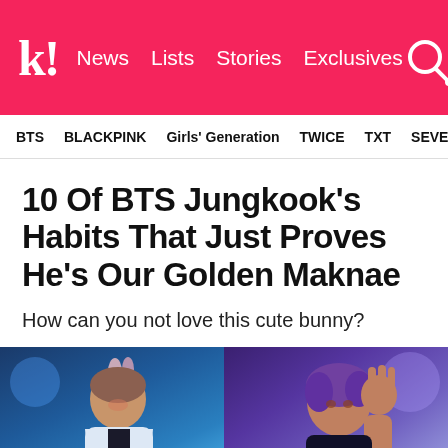k! News Lists Stories Exclusives
BTS BLACKPINK Girls' Generation TWICE TXT SEVE
10 Of BTS Jungkook’s Habits That Just Proves He’s Our Golden Maknae
How can you not love this cute bunny?
[Figure (photo): Two photos of BTS Jungkook side by side: left photo shows Jungkook smiling with bunny ears headband on a concert stage with blue lighting; right photo shows Jungkook waving with purple hair under blue/purple stage lighting.]